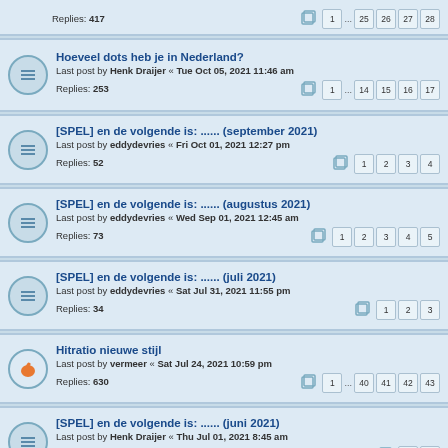Replies: 417 | 1 ... 25 26 27 28
Hoeveel dots heb je in Nederland? Last post by Henk Draijer « Tue Oct 05, 2021 11:46 am Replies: 253 | 1 ... 14 15 16 17
[SPEL] en de volgende is: ...... (september 2021) Last post by eddydevries « Fri Oct 01, 2021 12:27 pm Replies: 52 | 1 2 3 4
[SPEL] en de volgende is: ...... (augustus 2021) Last post by eddydevries « Wed Sep 01, 2021 12:45 am Replies: 73 | 1 2 3 4 5
[SPEL] en de volgende is: ...... (juli 2021) Last post by eddydevries « Sat Jul 31, 2021 11:55 pm Replies: 34 | 1 2 3
Hitratio nieuwe stijl Last post by vermeer « Sat Jul 24, 2021 10:59 pm Replies: 630 | 1 ... 40 41 42 43
[SPEL] en de volgende is: ...... (juni 2021) Last post by Henk Draijer « Thu Jul 01, 2021 8:45 am Replies: 29 | 1 2
[SPEL] en de volgende is: ...... (mei 2021) Last post by eddydevries « Tue Jun 01, 2021 1:08 pm Replies: 44 | 1 2 3
Langste hit binnen NL